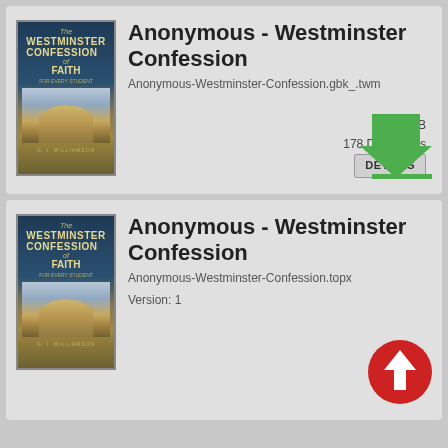[Figure (screenshot): App listing card 1: Westminster Confession book cover image with title, filename, file size 0.3 MiB, 178 Downloads, DETAILS button, and green download arrow]
[Figure (screenshot): App listing card 2: Westminster Confession book cover image with title, filename Anonymous-Westminster-Confession.topx, Version: 1, and red upload arrow]